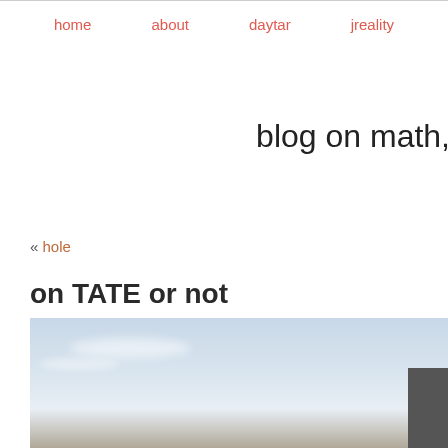home   about   daytar   jreality
blog on math,
« hole
on TATE or not
[Figure (photo): Photograph of a building with sky and clouds in the background, cropped at the right edge of the page]